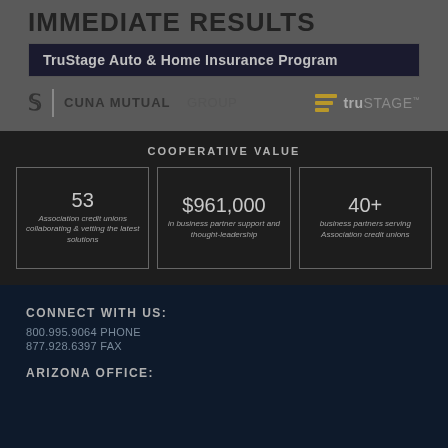IMMEDIATE RESULTS
TruStage Auto & Home Insurance Program
[Figure (logo): CUNA Mutual Group logo and TruStage logo side by side]
COOPERATIVE VALUE
53 — Association credit unions collaborating & vetting the latest solutions
$961,000 — in business partner support and thought-leadership
40+ — business partners serving Association credit unions
CONNECT WITH US:
800.995.9064 PHONE
877.928.6397 FAX
ARIZONA OFFICE: